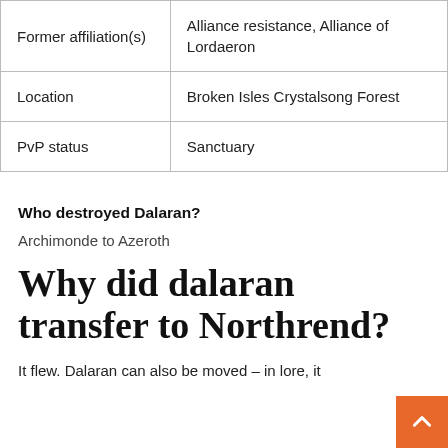|  |  |
| --- | --- |
| Former affiliation(s) | Alliance resistance, Alliance of Lordaeron |
| Location | Broken Isles Crystalsong Forest |
| PvP status | Sanctuary |
Who destroyed Dalaran?
Archimonde to Azeroth
Why did dalaran transfer to Northrend?
It flew. Dalaran can also be moved – in lore, it